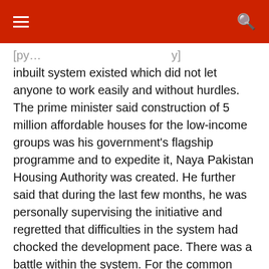[navigation bar with hamburger menu and search icon]
inbuilt system existed which did not let anyone to work easily and without hurdles. The prime minister said construction of 5 million affordable houses for the low-income groups was his government's flagship programme and to expedite it, Naya Pakistan Housing Authority was created. He further said that during the last few months, he was personally supervising the initiative and regretted that difficulties in the system had chocked the development pace. There was a battle within the system. For the common man wanted to start his small business, difficulties had been created through intricate system which often led to individuals' discouragement, he added. The prime minister said when he was in the United Kingdom during his stay for studies or cricket activities, he saw how